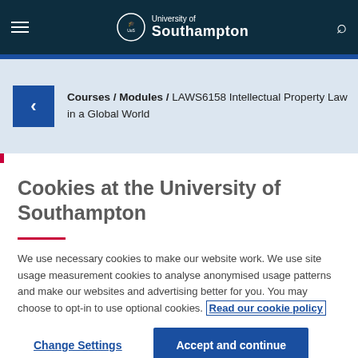University of Southampton – navigation bar
Courses / Modules / LAWS6158 Intellectual Property Law in a Global World
Cookies at the University of Southampton
We use necessary cookies to make our website work. We use site usage measurement cookies to analyse anonymised usage patterns and make our websites and advertising better for you. You may choose to opt-in to use optional cookies. Read our cookie policy
Change Settings
Accept and continue